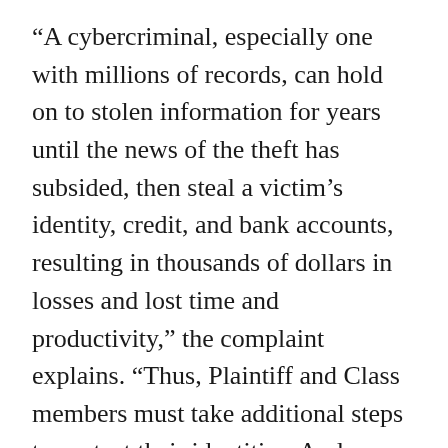“A cybercriminal, especially one with millions of records, can hold on to stolen information for years until the news of the theft has subsided, then steal a victim’s identity, credit, and bank accounts, resulting in thousands of dollars in losses and lost time and productivity,” the complaint explains. “Thus, Plaintiff and Class members must take additional steps to protect their identities. And Plaintiff and Class members must bear the burden and expense of identity and credit monitoring, and heightened vigilance for years to come.”